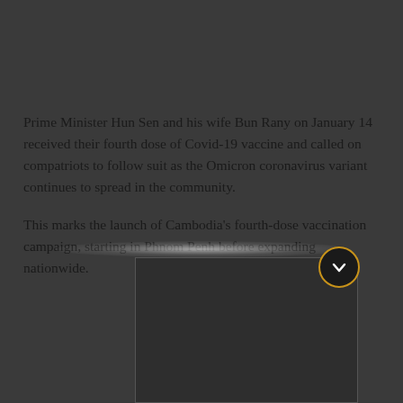Prime Minister Hun Sen and his wife Bun Rany on January 14 received their fourth dose of Covid-19 vaccine and called on compatriots to follow suit as the Omicron coronavirus variant continues to spread in the community.
This marks the launch of Cambodia's fourth-dose vaccination campaign, starting in Phnom Penh before expanding nationwide.
[Figure (screenshot): Dark framed image area at bottom of page with a glowing white bar at top and a black-and-gold circular chevron/down-arrow button on the right side.]